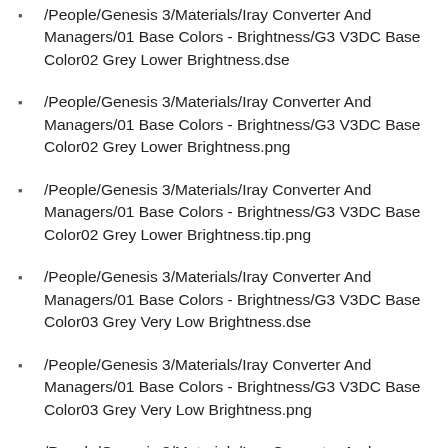/People/Genesis 3/Materials/Iray Converter And Managers/01 Base Colors - Brightness/G3 V3DC Base Color02 Grey Lower Brightness.dse
/People/Genesis 3/Materials/Iray Converter And Managers/01 Base Colors - Brightness/G3 V3DC Base Color02 Grey Lower Brightness.png
/People/Genesis 3/Materials/Iray Converter And Managers/01 Base Colors - Brightness/G3 V3DC Base Color02 Grey Lower Brightness.tip.png
/People/Genesis 3/Materials/Iray Converter And Managers/01 Base Colors - Brightness/G3 V3DC Base Color03 Grey Very Low Brightness.dse
/People/Genesis 3/Materials/Iray Converter And Managers/01 Base Colors - Brightness/G3 V3DC Base Color03 Grey Very Low Brightness.png
/People/Genesis 3/Materials/Iray Converter And Managers/01 Base Colors - Brightness/G3 V3DC Base Color03 Grey Very Low Brightness.tip.png